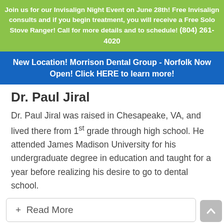Join us for our Invisalign Night Event on June 28th! Free Invisalign consults and if you begin treatment, you will receive a Free Solo Stove Ranger! Call for more details and to schedule! (804) 261-4020
New Location! Morrison Dental Group - Norfolk Now Open! Click HERE to learn more!
Dr. Paul Jiral
Dr. Paul Jiral was raised in Chesapeake, VA, and lived there from 1st grade through high school. He attended James Madison University for his undergraduate degree in education and taught for a year before realizing his desire to go to dental school.
+ Read More